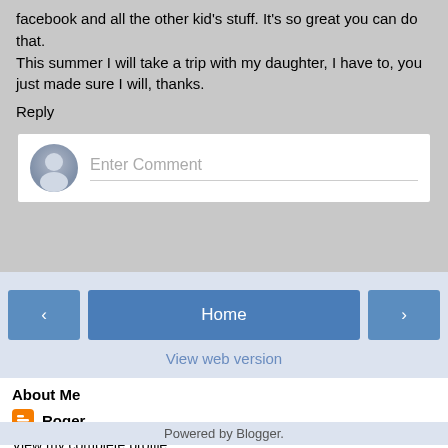facebook and all the other kid's stuff. It's so great you can do that.
This summer I will take a trip with my daughter, I have to, you just made sure I will, thanks.
Reply
[Figure (other): Comment input box with avatar icon and Enter Comment placeholder text]
[Figure (other): Navigation buttons: left arrow, Home, right arrow, and View web version link]
About Me
Roger
View my complete profile
Powered by Blogger.